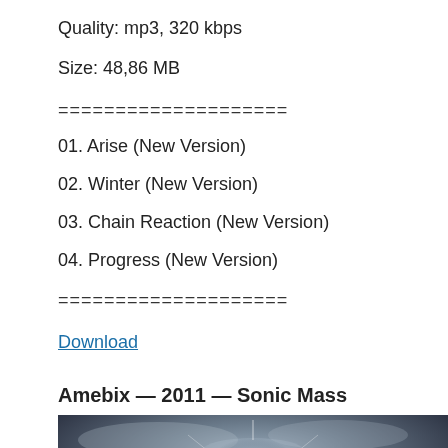Quality: mp3, 320 kbps
Size: 48,86 MB
====================
01. Arise (New Version)
02. Winter (New Version)
03. Chain Reaction (New Version)
04. Progress (New Version)
====================
Download
Amebix — 2011 — Sonic Mass
[Figure (photo): Album cover art for Amebix Sonic Mass 2011 - dark dramatic image with monolithic structures and a glowing orb/sphere in the center against a cloudy sky]